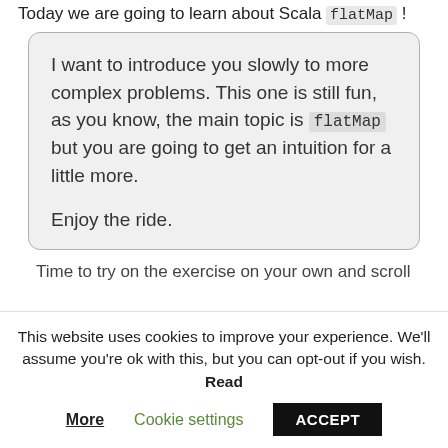Today we are going to learn about Scala flatMap !
I want to introduce you slowly to more complex problems. This one is still fun, as you know, the main topic is flatMap but you are going to get an intuition for a little more.

Enjoy the ride.
Time to try on the exercise on your own and scroll
This website uses cookies to improve your experience. We'll assume you're ok with this, but you can opt-out if you wish. Read More   Cookie settings   ACCEPT